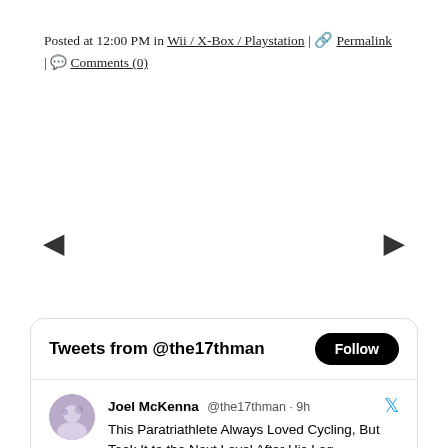Posted at 12:00 PM in Wii / X-Box / Playstation | 🔗 Permalink | 💬 Comments (0)
[Figure (other): Navigation arrows: left arrow (back) on the left side and right arrow (forward) on the right side]
[Figure (screenshot): Twitter widget showing 'Tweets from @the17thman' with Follow button and a tweet by Joel McKenna @the17thman 9h: 'This Paratriathlete Always Loved Cycling, But Took It to the Next Level After His Leg Amputation yahoo.com/lifestyle/para… @cyclebar #cyclebar #indoorcycling #boutiquefitness']